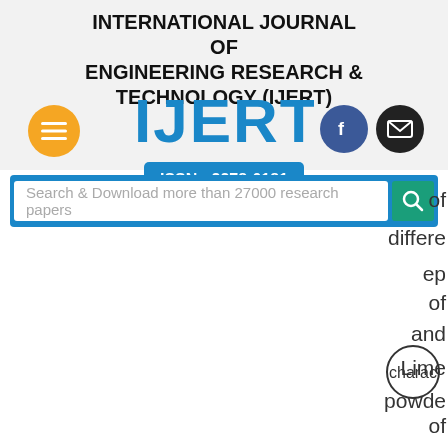INTERNATIONAL JOURNAL OF ENGINEERING RESEARCH & TECHNOLOGY (IJERT)
[Figure (logo): IJERT logo with ISSN: 2278-0181, alongside navigation icons (hamburger menu, Facebook, email)]
[Figure (screenshot): Search bar reading 'Search & Download more than 27000 research papers' on blue background with teal search button]
of different ep of and Lime powder on strength and shrinkage charac of